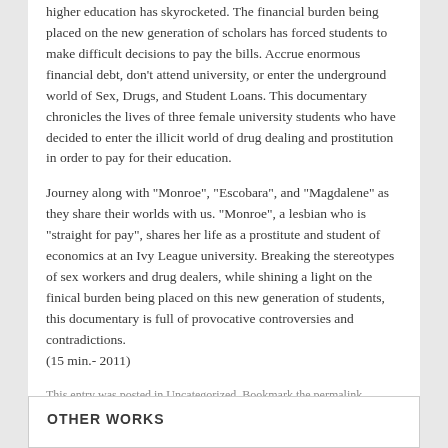higher education has skyrocketed. The financial burden being placed on the new generation of scholars has forced students to make difficult decisions to pay the bills. Accrue enormous financial debt, don't attend university, or enter the underground world of Sex, Drugs, and Student Loans. This documentary chronicles the lives of three female university students who have decided to enter the illicit world of drug dealing and prostitution in order to pay for their education.
Journey along with “Monroe”, “Escobara”, and “Magdalene” as they share their worlds with us. “Monroe”, a lesbian who is “straight for pay”, shares her life as a prostitute and student of economics at an Ivy League university. Breaking the stereotypes of sex workers and drug dealers, while shining a light on the finical burden being placed on this new generation of students, this documentary is full of provocative controversies and contradictions.
(15 min.- 2011)
This entry was posted in Uncategorized. Bookmark the permalink.
OTHER WORKS